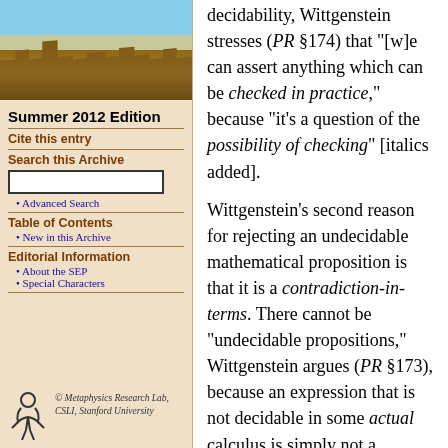[Figure (photo): Photograph of a stone university building with blue sky and clouds]
Summer 2012 Edition
Cite this entry
Search this Archive
Advanced Search
Table of Contents
New in this Archive
Editorial Information
About the SEP
Special Characters
[Figure (logo): Metaphysics Research Lab, CSIL, Stanford University logo with stylized figure]
decidability, Wittgenstein stresses (PR §174) that “[w]e can assert anything which can be checked in practice,” because “it’s a question of the possibility of checking” [italics added].
Wittgenstein’s second reason for rejecting an undecidable mathematical proposition is that it is a contradiction-in-terms. There cannot be “undecidable propositions,” Wittgenstein argues (PR §173), because an expression that is not decidable in some actual calculus is simply not a mathematical proposition, since “every proposition in mathematics